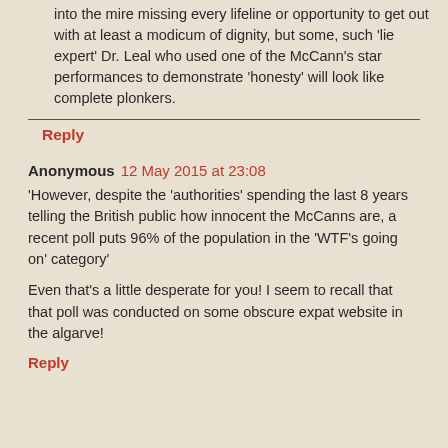into the mire missing every lifeline or opportunity to get out with at least a modicum of dignity, but some, such 'lie expert' Dr. Leal who used one of the McCann's star performances to demonstrate 'honesty' will look like complete plonkers.
Reply
Anonymous 12 May 2015 at 23:08
'However, despite the 'authorities' spending the last 8 years telling the British public how innocent the McCanns are, a recent poll puts 96% of the population in the 'WTF's going on' category'
Even that's a little desperate for you! I seem to recall that that poll was conducted on some obscure expat website in the algarve!
Reply